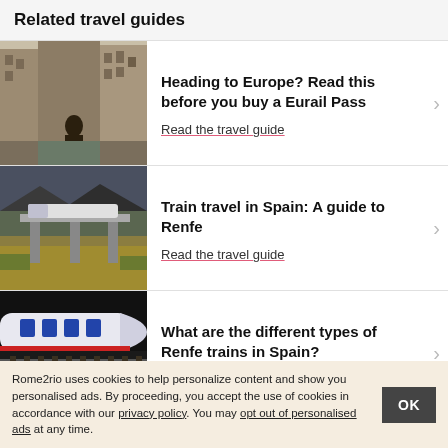Related travel guides
[Figure (photo): Person sitting by a canal in a European city with tall buildings]
Heading to Europe? Read this before you buy a Eurail Pass
Read the travel guide
[Figure (photo): Train on a bridge in a Spanish mountainous landscape]
Train travel in Spain: A guide to Renfe
Read the travel guide
[Figure (photo): Modern high-speed train on railway tracks]
What are the different types of Renfe trains in Spain?
Read the travel guide
Rome2rio uses cookies to help personalize content and show you personalised ads. By proceeding, you accept the use of cookies in accordance with our privacy policy. You may opt out of personalised ads at any time.